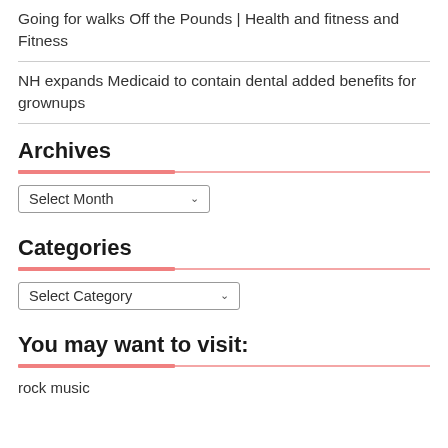Going for walks Off the Pounds | Health and fitness and Fitness
NH expands Medicaid to contain dental added benefits for grownups
Archives
[Figure (other): Select Month dropdown widget with decorative pink/red divider bar]
Categories
[Figure (other): Select Category dropdown widget with decorative pink/red divider bar]
You may want to visit:
rock music